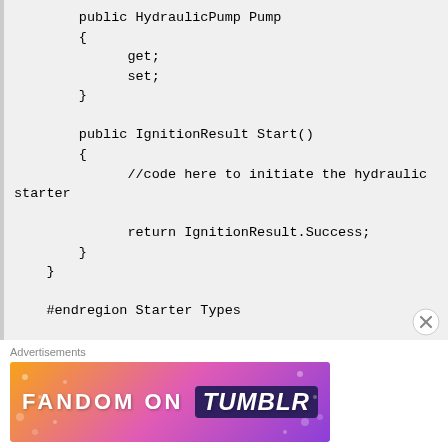public HydraulicPump Pump
        {
              get;
              set;
        }

        public IgnitionResult Start()
        {
              //code here to initiate the hydraulic starter

              return IgnitionResult.Success;
        }
    }

    #endregion Starter Types

    #region Starter Support Components
Advertisements
[Figure (illustration): FANDOM ON tumblr advertisement banner with colorful gradient background (orange, pink, purple) and decorative elements]